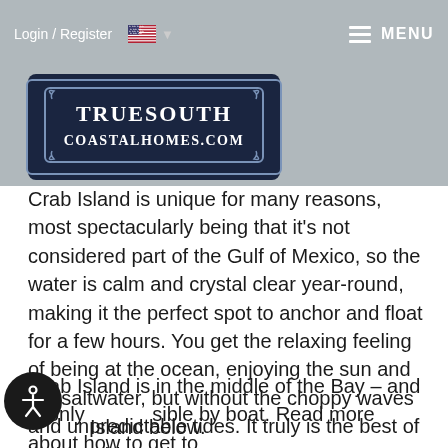Login / Register  [US Flag]  MENU
[Figure (logo): TrueSouth Coastalhomes.com logo — dark navy background with decorative border, white serif text reading TRUESOUTH COASTALHOMES.COM]
Crab Island is unique for many reasons, most spectacularly being that it's not considered part of the Gulf of Mexico, so the water is calm and crystal clear year-round, making it the perfect spot to anchor and float for a few hours. You get the relaxing feeling of being at the ocean, enjoying the sun and the saltwater, but without the choppy waves and unpredictable tides. It truly is the best of both worlds.
Crab Island is in the middle of the Bay – and is only accessible by boat. Read more about how to get to Crab Island below.